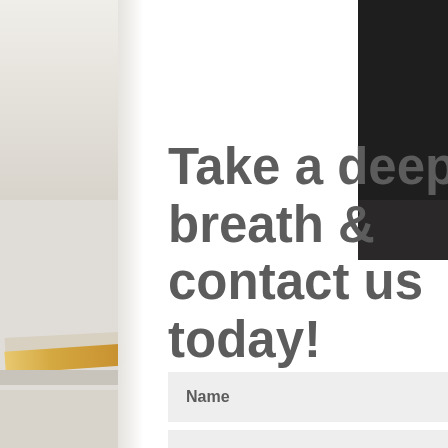[Figure (photo): Background photo showing a blurred desk scene with stacked books/magazines on the left side and a dark monitor/laptop on the upper right. White background dominates the center.]
Take a deep breath & contact us today!
Name
Email Address
Message